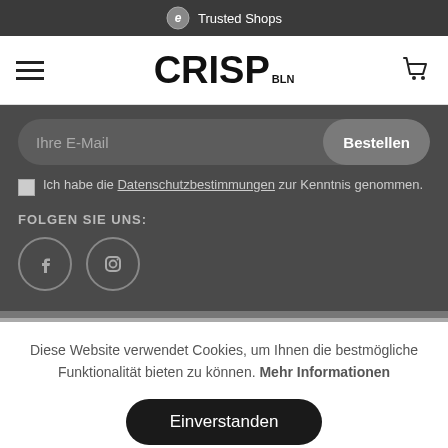Trusted Shops
[Figure (logo): CRISP BLN logo with hamburger menu and cart icon]
Ihre E-Mail — Bestellen
Ich habe die Datenschutzbestimmungen zur Kenntnis genommen.
FOLGEN SIE UNS:
[Figure (illustration): Facebook and Instagram social media icons in circles]
Diese Website verwendet Cookies, um Ihnen die bestmögliche Funktionalität bieten zu können. Mehr Informationen
Einverstanden